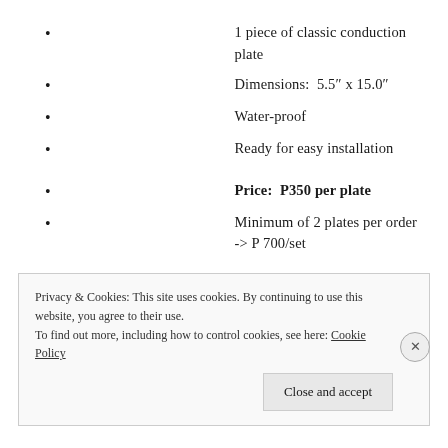1 piece of classic conduction plate
Dimensions:  5.5″ x 15.0″
Water-proof
Ready for easy installation
Price:  P350 per plate
Minimum of 2 plates per order -> P 700/set
Classic Conduction Plate
Privacy & Cookies: This site uses cookies. By continuing to use this website, you agree to their use.
To find out more, including how to control cookies, see here: Cookie Policy
Close and accept